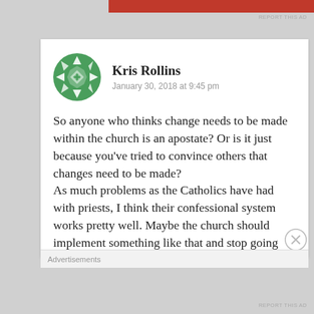[Figure (logo): Green decorative snowflake/mandala avatar icon for user Kris Rollins]
Kris Rollins
January 30, 2018 at 9:45 pm
So anyone who thinks change needs to be made within the church is an apostate? Or is it just because you've tried to convince others that changes need to be made?
As much problems as the Catholics have had with priests, I think their confessional system works pretty well. Maybe the church should implement something like that and stop going into sexual detail with kids. Keep up the good
Advertisements